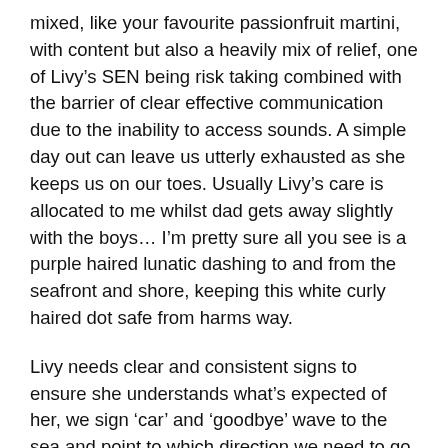mixed, like your favourite passionfruit martini, with content but also a heavily mix of relief, one of Livy's SEN being risk taking combined with the barrier of clear effective communication due to the inability to access sounds. A simple day out can leave us utterly exhausted as she keeps us on our toes. Usually Livy's care is allocated to me whilst dad gets away slightly with the boys… I'm pretty sure all you see is a purple haired lunatic dashing to and from the seafront and shore, keeping this white curly haired dot safe from harms way.
Livy needs clear and consistent signs to ensure she understands what's expected of her, we sign 'car' and 'goodbye' wave to the sea and point to which direction we need to go. This doesn't